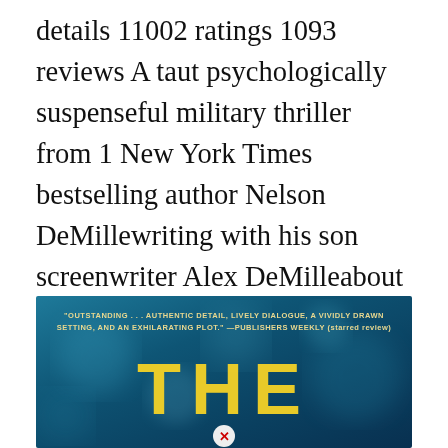details 11002 ratings 1093 reviews A taut psychologically suspenseful military thriller from 1 New York Times bestselling author Nelson DeMillewriting with his son screenwriter Alex DeMilleabout two army investigators on the hunt in Venezuela for an army deserter who might know too much about a secret Pentagon operation.
[Figure (photo): Book cover image with teal/blue background showing text 'OUTSTANDING... AUTHENTIC DETAIL, LIVELY DIALOGUE, A VIVIDLY DRAWN SETTING, AND AN EXHILARATING PLOT.' —PUBLISHERS WEEKLY (starred review) and large yellow title text 'THE' visible at bottom. A red circle with white X appears at the bottom center.]